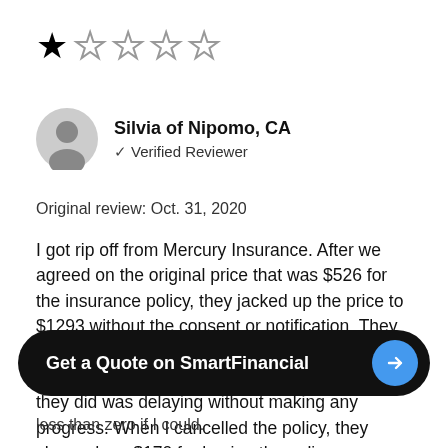[Figure (other): Star rating showing 1 out of 5 stars filled]
Silvia of Nipomo, CA
✓ Verified Reviewer
Original review: Oct. 31, 2020
I got rip off from Mercury Insurance. After we agreed on the original price that was $526 for the insurance policy, they jacked up the price to $1293 without the consent or notification. They just sent me the bill and demanded me to pay it. When I fought for the original price of $526, all they did was delaying without making any progress. When I cancelled the policy, they charged me $170 for having the policy less than zero if I could.
Get a Quote on SmartFinancial